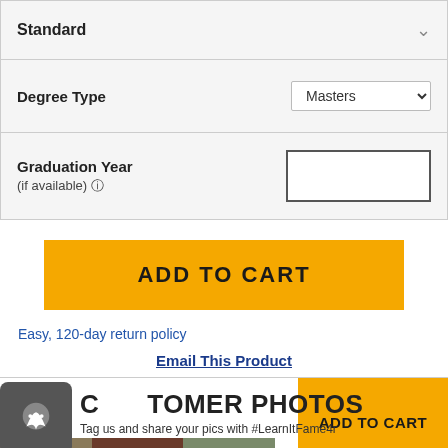Standard
Degree Type — Masters
Graduation Year (if available)
ADD TO CART
Easy, 120-day return policy
Email This Product
CUSTOMER PHOTOS
Tag us and share your pics with #LearnItFame4r
ADD TO CART